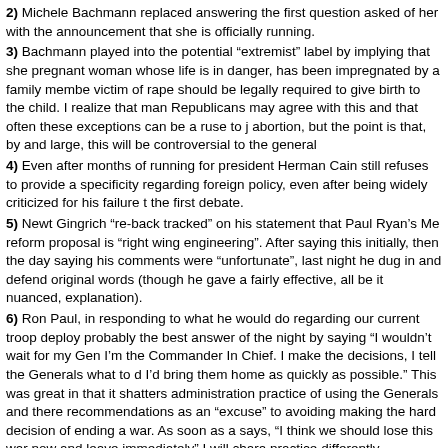2) Michele Bachmann replaced answering the first question asked of her with the announcement that she is officially running.
3) Bachmann played into the potential “extremist” label by implying that she pregnant woman whose life is in danger, has been impregnated by a family member, victim of rape should be legally required to give birth to the child. I realize that many Republicans may agree with this and that often these exceptions can be a ruse to justify abortion, but the point is that, by and large, this will be controversial to the general public.
4) Even after months of running for president Herman Cain still refuses to provide any specificity regarding foreign policy, even after being widely criticized for his failure to do so in the first debate.
5) Newt Gingrich “re-back tracked” on his statement that Paul Ryan’s Medicare reform proposal is “right wing engineering”. After saying this initially, then the next day saying his comments were “unfortunate”, last night he dug in and defended his original words (though he gave a fairly effective, all be it nuanced, explanation).
6) Ron Paul, in responding to what he would do regarding our current troop deployments, probably the best answer of the night by saying “I wouldn’t wait for my Generals. I’m the Commander In Chief. I make the decisions, I tell the Generals what to do. I’d bring them home as quickly as possible.” This was great in that it shattered the administration practice of using the Generals and there recommendations as an “excuse” to avoiding making the hard decision of ending a war. As soon as anyone says, “I think we should lose this war now and leave immediately” I will characterize that practice differently.
7) Paul emphatically said that as president he would not authorize drone attacks on targets in Yemen or in Pakistan (and presumably anywhere else).
8) Paul also said that hospitals should not be required to give illegal aliens (in this case a year old child) emergency room medical care. Now even the most passionate Ron Paul supporters have to realize that, regardless of what merit one might think it has in theory, simply can’t say something like this in presidential politics and expect to win.